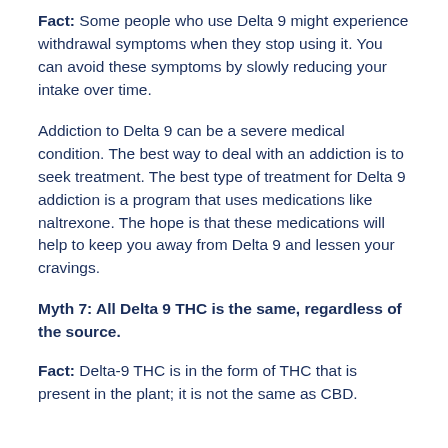Fact: Some people who use Delta 9 might experience withdrawal symptoms when they stop using it. You can avoid these symptoms by slowly reducing your intake over time.
Addiction to Delta 9 can be a severe medical condition. The best way to deal with an addiction is to seek treatment. The best type of treatment for Delta 9 addiction is a program that uses medications like naltrexone. The hope is that these medications will help to keep you away from Delta 9 and lessen your cravings.
Myth 7: All Delta 9 THC is the same, regardless of the source.
Fact: Delta-9 THC is in the form of THC that is present in the plant; it is not the same as CBD.